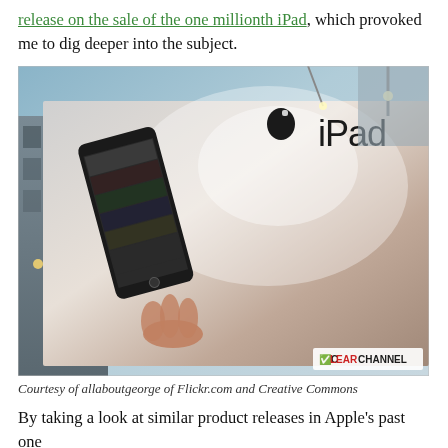release on the sale of the one millionth iPad, which provoked me to dig deeper into the subject.
[Figure (photo): Large outdoor iPad billboard advertisement on the side of a building, photographed from below at an angle. The billboard shows a hand holding an iPad against a dramatic light background. A Clear Channel logo is visible in the bottom right corner.]
Courtesy of allaboutgeorge of Flickr.com and Creative Commons
By taking a look at similar product releases in Apple's past one